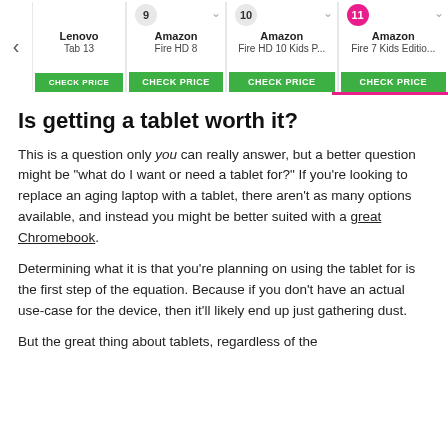Carousel with product listings: Lenovo Tab 13, Amazon Fire HD 8 (9), Amazon Fire HD 10 Kids P... (10), Amazon Fire 7 Kids Editio... (11)
Is getting a tablet worth it?
This is a question only you can really answer, but a better question might be "what do I want or need a tablet for?" If you're looking to replace an aging laptop with a tablet, there aren't as many options available, and instead you might be better suited with a great Chromebook.
Determining what it is that you're planning on using the tablet for is the first step of the equation. Because if you don't have an actual use-case for the device, then it'll likely end up just gathering dust.
But the great thing about tablets, regardless of the